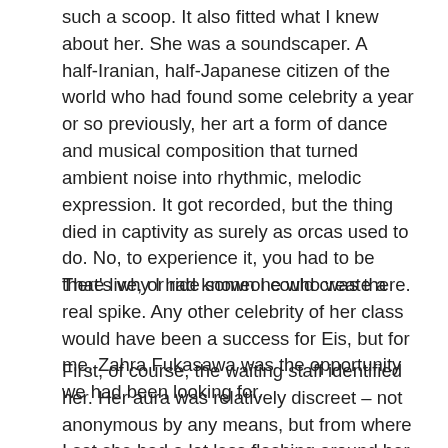such a scoop. It also fitted what I knew about her. She was a soundscaper. A half-Iranian, half-Japanese citizen of the world who had found some celebrity a year or so previously, her art a form of dance and musical composition that turned ambient noise into rhythmic, melodic expression. It got recorded, but the thing died in captivity as surely as orcas used to do. No, to experience it, you had to be there live, or ride someone who was there.
That's why I had known I could create a real spike. Any other celebrity of her class would have been a success for Eis, but for me, Zahra Fukasawa was the opportunity we had been looking for.
First, of course, the waiting staff identified her. Her aura was relatively discreet – not anonymous by any means, but from where I sat she had a lot less flashing around her than, say, Niki Booker-Cosens, Thought-Patterner, hiremeforyourcognitivechange,